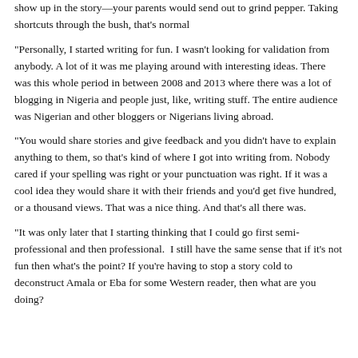show up in the story—your parents would send out to grind pepper. Taking shortcuts through the bush, that's normal
“Personally, I started writing for fun. I wasn’t looking for validation from anybody. A lot of it was me playing around with interesting ideas. There was this whole period in between 2008 and 2013 where there was a lot of blogging in Nigeria and people just, like, writing stuff. The entire audience was Nigerian and other bloggers or Nigerians living abroad.
“You would share stories and give feedback and you didn’t have to explain anything to them, so that’s kind of where I got into writing from. Nobody cared if your spelling was right or your punctuation was right. If it was a cool idea they would share it with their friends and you’d get five hundred, or a thousand views. That was a nice thing. And that’s all there was.
“It was only later that I starting thinking that I could go first semi-professional and then professional.  I still have the same sense that if it’s not fun then what’s the point? If you’re having to stop a story cold to deconstruct Amala or Eba for some Western reader, then what are you doing?